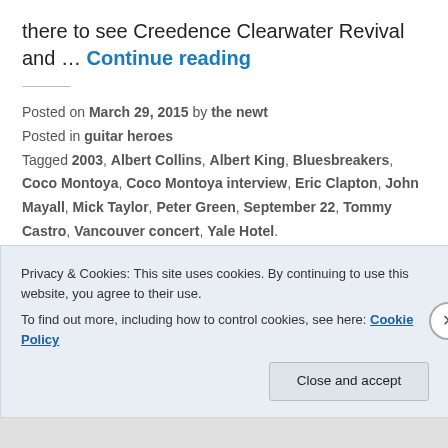there to see Creedence Clearwater Revival and … Continue reading
Posted on March 29, 2015 by the newt
Posted in guitar heroes
Tagged 2003, Albert Collins, Albert King, Bluesbreakers, Coco Montoya, Coco Montoya interview, Eric Clapton, John Mayall, Mick Taylor, Peter Green, September 22, Tommy Castro, Vancouver concert, Yale Hotel.
Leave a comment
Privacy & Cookies: This site uses cookies. By continuing to use this website, you agree to their use.
To find out more, including how to control cookies, see here: Cookie Policy